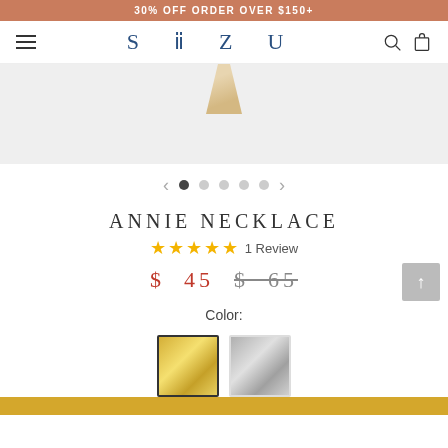30% OFF ORDER OVER $150+
[Figure (logo): SiiZU brand logo with hamburger menu, search and cart icons]
[Figure (photo): Product image area showing Annie Necklace in gray background with carousel navigation dots]
ANNIE NECKLACE
★★★★★ 1 Review
$ 45  $ 65
Color:
[Figure (other): Two color swatches: gold (selected with border) and silver]